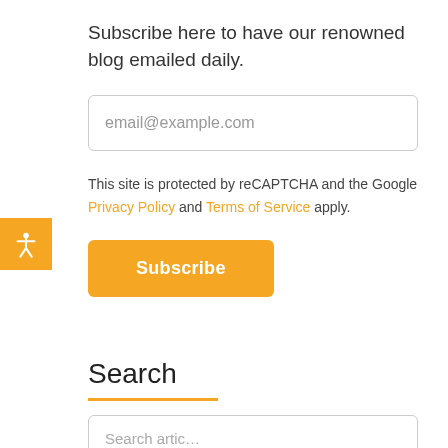Subscribe here to have our renowned blog emailed daily.
[Figure (screenshot): Email input field with placeholder text 'email@example.com']
This site is protected by reCAPTCHA and the Google Privacy Policy and Terms of Service apply.
[Figure (screenshot): Orange 'Subscribe' button]
Search
[Figure (screenshot): Search article input field, partially visible at bottom]